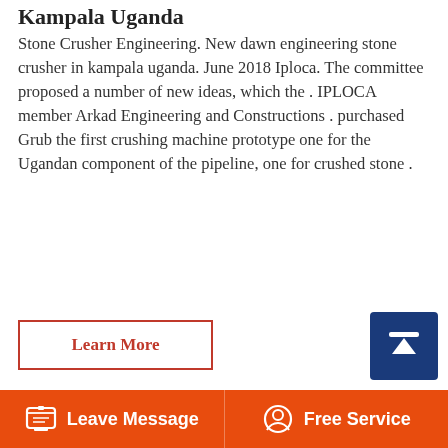Kampala Uganda
Stone Crusher Engineering. New dawn engineering stone crusher in kampala uganda. June 2018 Iploca. The committee proposed a number of new ideas, which the . IPLOCA member Arkad Engineering and Constructions . purchased Grub the first crushing machine prototype one for the Ugandan component of the pipeline, one for crushed stone .
Learn More
[Figure (photo): Industrial stone crusher machinery with large cylindrical crushing units, metal scaffolding structure and blue cladding, viewed from ground level against a sky background.]
Leave Message | Free Service